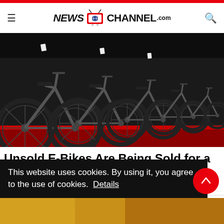[Figure (logo): NEWS CHANNEL .com logo with TV icon]
[Figure (photo): Rows of black e-bikes/electric bicycles lined up in a store or warehouse, viewed from the front, showing wheels and handlebars]
Unsold E-Bikes Are Being Sold for a Fraction of Their Price
E Bike & Electric Bicycle | Search Ads | Anzeige
This website uses cookies. By using it, you agree to the use of cookies.  Details